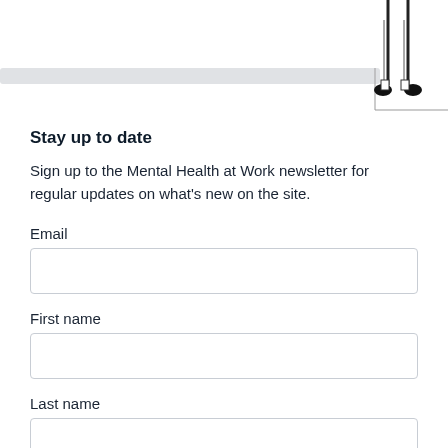[Figure (illustration): Line illustration showing legs/feet of a person sitting on a surface, with a decorative horizontal bar element below]
Stay up to date
Sign up to the Mental Health at Work newsletter for regular updates on what's new on the site.
Email
First name
Last name